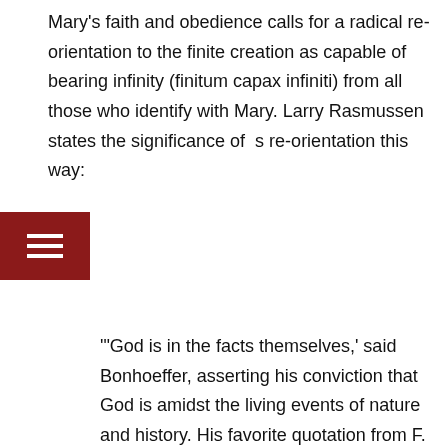Mary's faith and obedience calls for a radical re-orientation to the finite creation as capable of bearing infinity (finitum capax infiniti) from all those who identify with Mary. Larry Rasmussen states the significance of this re-orientation this way:
'"God is in the facts themselves,' said Bonhoeffer, asserting his conviction that God is amidst the living events of nature and history. His favorite quotation from F. C. Oetinger said much the same: 'The end of the ways of God is bodiliness.' The meaning of finitum capax infiniti is simple enough: God is pegged to earth. So if you would experience God, you must fall in love with earth. The infinite and transcendent are dimensions of what is